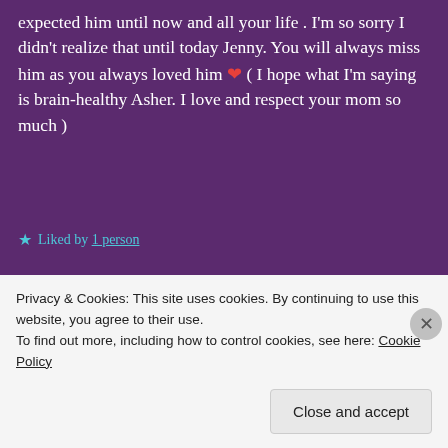expected him until now and all your life . I'm so sorry I didn't realize that until today Jenny. You will always miss him as you always loved him ❤ ( I hope what I'm saying is brain-healthy Asher. I love and respect your mom so much )
★ Liked by 1 person
REPLY
Kade's mom
Privacy & Cookies: This site uses cookies. By continuing to use this website, you agree to their use.
To find out more, including how to control cookies, see here: Cookie Policy
Close and accept